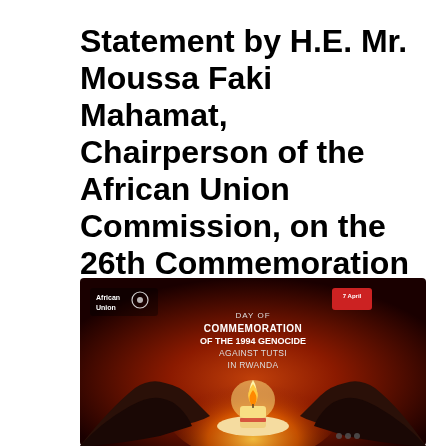Statement by H.E. Mr. Moussa Faki Mahamat, Chairperson of the African Union Commission, on the 26th Commemoration of the Genocide Against the Tutsi in Rwanda (Kwibuka26) – (07.04.2020)
[Figure (photo): Photo of two dark hands cupping a lit candle flame against a dark red background, with text overlay reading: African Union logo, 'DAY OF COMMEMORATION OF THE 1994 GENOCIDE AGAINST TUTSI IN RWANDA', and a date badge '7 April'.]